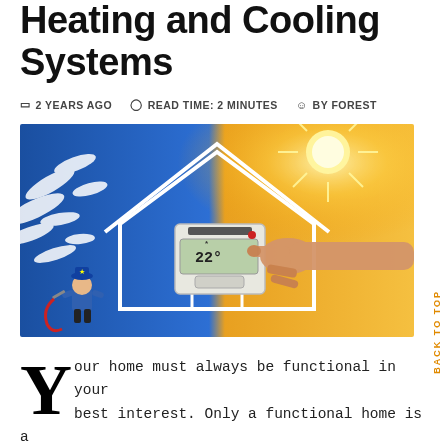Heating and Cooling Systems
2 YEARS AGO   READ TIME: 2 MINUTES   BY FOREST
[Figure (illustration): Split image showing winter (blue, snowy trees) on the left and summer (orange, bright sun) on the right, with a white house outline and a hand adjusting a thermostat showing 22 degrees in the center. A cartoon plumber mascot appears in the bottom left corner.]
BACK TO TOP
Your home must always be functional in your best interest. Only a functional home is a